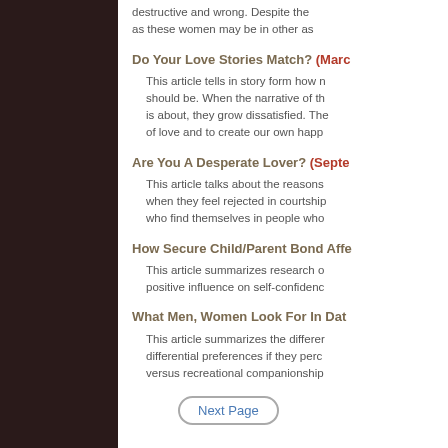destructive and wrong. Despite the as these women may be in other as
Do Your Love Stories Match? (Marc
This article tells in story form how n should be. When the narrative of th is about, they grow dissatisfied. The of love and to create our own happ
Are You A Desperate Lover? (Septe
This article talks about the reasons when they feel rejected in courtship who find themselves in people who
How Secure Child/Parent Bond Affe
This article summarizes research o positive influence on self-confidenc
What Men, Women Look For In Dat
This article summarizes the differer differential preferences if they perc versus recreational companionship
Next Page